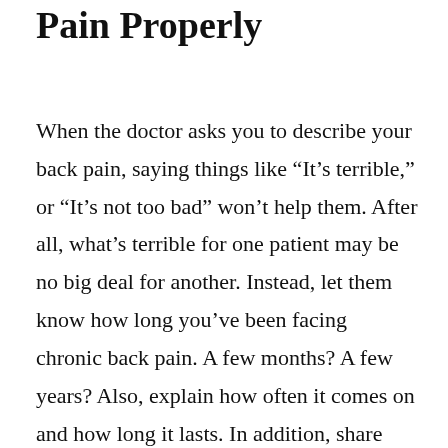Pain Properly
When the doctor asks you to describe your back pain, saying things like “It’s terrible,” or “It’s not too bad” won’t help them. After all, what’s terrible for one patient may be no big deal for another. Instead, let them know how long you’ve been facing chronic back pain. A few months? A few years? Also, explain how often it comes on and how long it lasts. In addition, share what reduces it and makes you